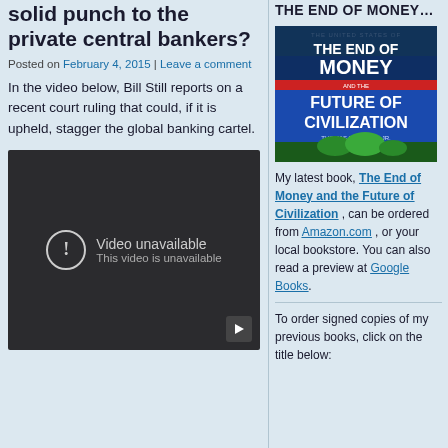solid punch to the private central bankers?
Posted on February 4, 2015 | Leave a comment
In the video below, Bill Still reports on a recent court ruling that could, if it is upheld, stagger the global banking cartel.
[Figure (screenshot): Embedded video player showing 'Video unavailable. This video is unavailable.' with a play button icon.]
THE END OF MONEY…
[Figure (photo): Book cover: The End of Money and the Future of Civilization by Thomas H. Greco, Jr.]
My latest book, The End of Money and the Future of Civilization , can be ordered from Amazon.com , or your local bookstore. You can also read a preview at Google Books.
To order signed copies of my previous books, click on the title below: